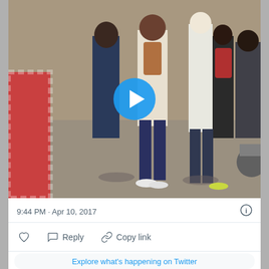[Figure (screenshot): Screenshot of a Twitter post showing a video thumbnail of people standing on a street, with a blue play button in the center. Below the video: timestamp '9:44 PM · Apr 10, 2017' with an info icon, a divider, action icons (like, reply, copy link), and an 'Explore what's happening on Twitter' bar.]
9:44 PM · Apr 10, 2017
Reply
Copy link
Explore what's happening on Twitter